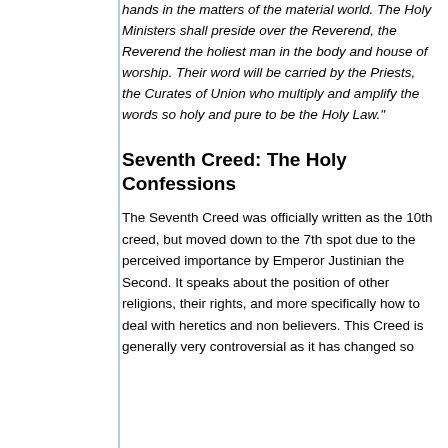hands in the matters of the material world. The Holy Ministers shall preside over the Reverend, the Reverend the holiest man in the body and house of worship. Their word will be carried by the Priests, the Curates of Union who multiply and amplify the words so holy and pure to be the Holy Law."
Seventh Creed: The Holy Confessions
The Seventh Creed was officially written as the 10th creed, but moved down to the 7th spot due to the perceived importance by Emperor Justinian the Second. It speaks about the position of other religions, their rights, and more specifically how to deal with heretics and non believers. This Creed is generally very controversial as it has changed so